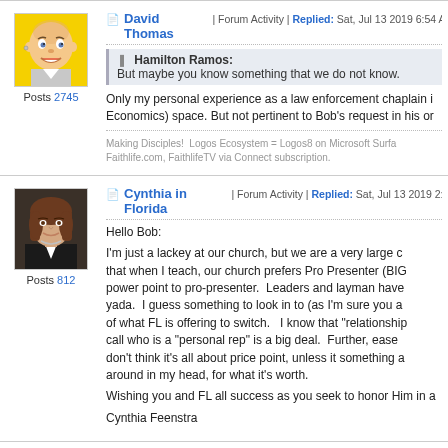David Thomas | Forum Activity | Replied: Sat, Jul 13 2019 6:54 AM
Hamilton Ramos: But maybe you know something that we do not know.
Only my personal experience as a law enforcement chaplain in (Economics) space. But not pertinent to Bob's request in his or
Making Disciples!  Logos Ecosystem = Logos8 on Microsoft Surface. Faithlife.com, FaithlifeTV via Connect subscription.
Posts 2745
Cynthia in Florida | Forum Activity | Replied: Sat, Jul 13 2019 2:46
Posts 812
Hello Bob:
I'm just a lackey at our church, but we are a very large c that when I teach, our church prefers Pro Presenter (BIG power point to pro-presenter.  Leaders and layman have yada.  I guess something to look in to (as I'm sure you a of what FL is offering to switch.   I know that "relationship call who is a "personal rep" is a big deal.  Further, ease don't think it's all about price point, unless it something a around in my head, for what it's worth.
Wishing you and FL all success as you seek to honor Him in a
Cynthia Feenstra